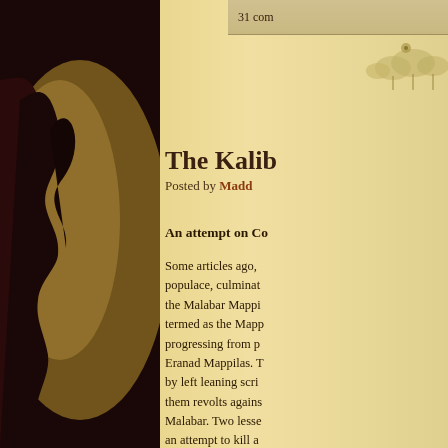31 com
The Kalib
Posted by Madd
An attempt on Co
Some articles ago, populace, culminat the Malabar Mapp termed as the Map progressing from p Eranad Mappilas. T by left leaning scri them revolts agains Malabar. Two lesse an attempt to kill a detail the first now